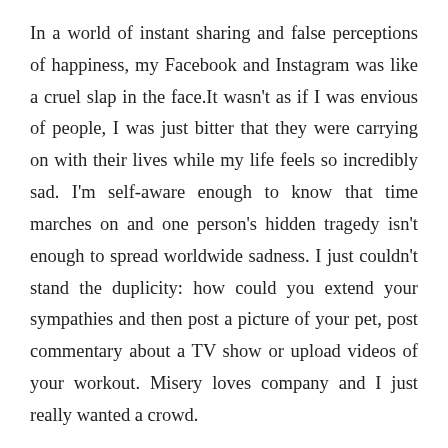In a world of instant sharing and false perceptions of happiness, my Facebook and Instagram was like a cruel slap in the face.It wasn't as if I was envious of people, I was just bitter that they were carrying on with their lives while my life feels so incredibly sad. I'm self-aware enough to know that time marches on and one person's hidden tragedy isn't enough to spread worldwide sadness. I just couldn't stand the duplicity: how could you extend your sympathies and then post a picture of your pet, post commentary about a TV show or upload videos of your workout. Misery loves company and I just really wanted a crowd.
My best friend came over with her baby after much convincing on my part. She wanted to leave the baby at home, understandably worried that it would deepen and